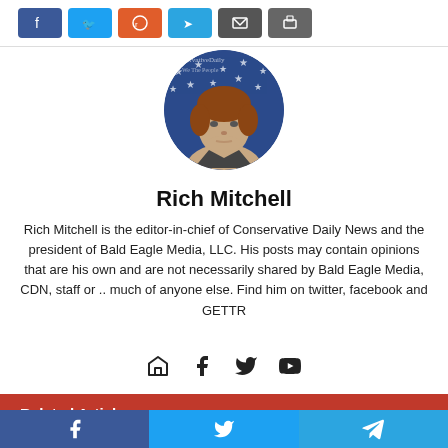[Figure (other): Share buttons row: Facebook (blue), Twitter (light blue), Reddit (orange), Telegram (blue), Email (dark gray), Print (gray)]
[Figure (photo): Circular author profile photo of Rich Mitchell against an American flag background with 'Conservative Daily News' watermark]
Rich Mitchell
Rich Mitchell is the editor-in-chief of Conservative Daily News and the president of Bald Eagle Media, LLC. His posts may contain opinions that are his own and are not necessarily shared by Bald Eagle Media, CDN, staff or .. much of anyone else. Find him on twitter, facebook and GETTR
[Figure (other): Social media icon links: home, facebook, twitter, youtube]
Related Articles
[Figure (other): Bottom share bar with Facebook, Twitter, and Telegram buttons]